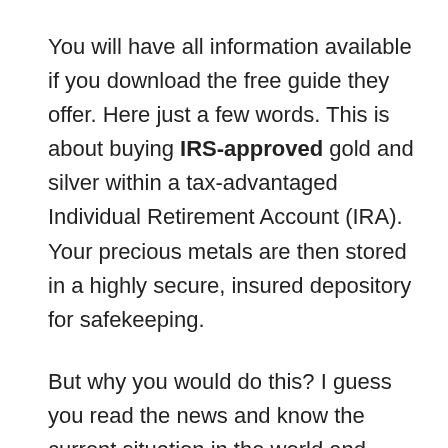You will have all information available if you download the free guide they offer. Here just a few words. This is about buying IRS-approved gold and silver within a tax-advantaged Individual Retirement Account (IRA). Your precious metals are then stored in a highly secure, insured depository for safekeeping.
But why you would do this? I guess you read the news and know the current situation in the world and understand that there is a potential decline in the value of the U.S. dollar based on global economic weaknesses. This can result in substantial erosion of lifetime savings.